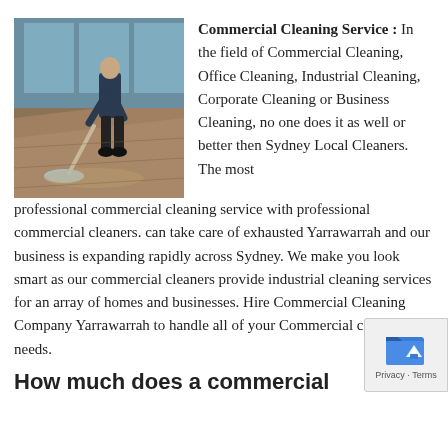[Figure (photo): A man mopping a shiny hardwood floor inside a modern commercial building with large glass windows.]
Commercial Cleaning Service : In the field of Commercial Cleaning, Office Cleaning, Industrial Cleaning, Corporate Cleaning or Business Cleaning, no one does it as well or better then Sydney Local Cleaners. The most professional commercial cleaning service with professional commercial cleaners. can take care of exhausted Yarrawarrah and our business is expanding rapidly across Sydney. We make you look smart as our commercial cleaners provide industrial cleaning services for an array of homes and businesses. Hire Commercial Cleaning Company Yarrawarrah to handle all of your Commercial cleaning needs.
[Figure (logo): Privacy badge with blue folder icon and up arrow, labelled Privacy · Terms]
How much does a commercial